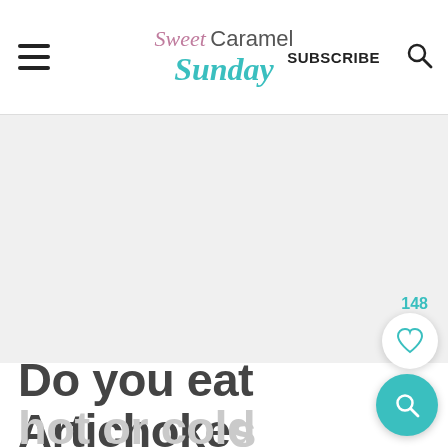Sweet Caramel Sunday | SUBSCRIBE
[Figure (screenshot): Advertisement placeholder area — light gray background]
148
Do you eat Artichokes hot or cold